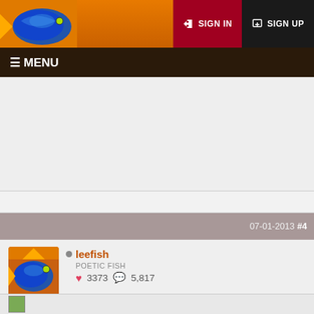SIGN IN  SIGN UP
☰ MENU
07-01-2013 #4
leefish
POETIC FISH
♥ 3373  💬 5,817
Double gate? Have you checked Sims2Artists? Huge Lunatic seems to be quite obsessed with gates 😁